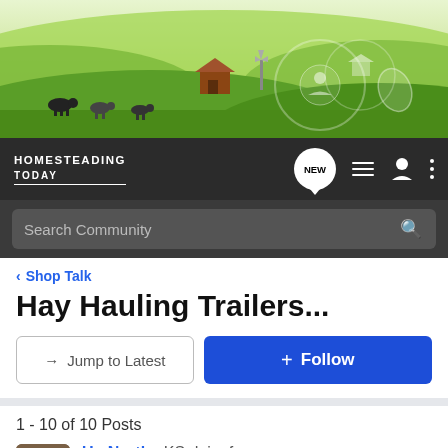[Figure (illustration): Green rolling farm landscape with cattle, barn, windmill, and circular tech icons overlay. Homesteading Today website banner.]
HOMESTEADING TODAY | NEW | navigation icons
Search Community
< Shop Talk
Hay Hauling Trailers...
→ Jump to Latest
+ Follow
1 - 10 of 10 Posts
Up North · KS dairy farmers
Joined Nov 28, 2005 · 3,841 Posts